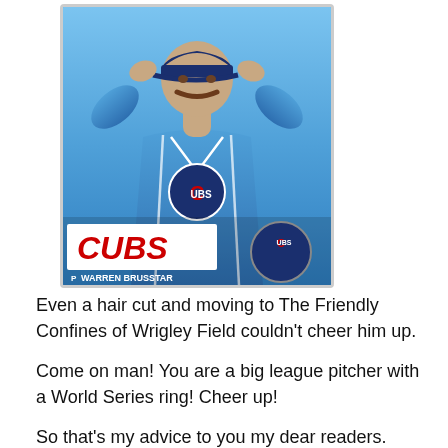[Figure (photo): Baseball card of Warren Brusstar, pitcher for the Chicago Cubs, wearing a blue Cubs jersey with his hands behind his head. The card shows the Cubs logo on his chest, a white banner with red 'CUBS' text at the bottom, a circular Cubs team logo, and his name 'WARREN BRUSSTAR' with position 'P' printed at the bottom.]
Even a hair cut and moving to The Friendly Confines of Wrigley Field couldn't cheer him up.
Come on man! You are a big league pitcher with a World Series ring! Cheer up!
So that's my advice to you my dear readers.